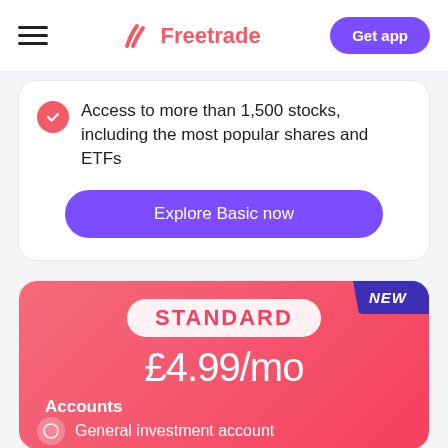Freetrade — Get app
Access to more than 1,500 stocks, including the most popular shares and ETFs
Explore Basic now
NEW
STANDARD
£4.99/mo
Accounts
General investment account